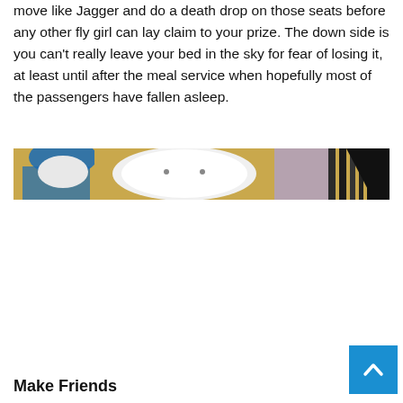move like Jagger and do a death drop on those seats before any other fly girl can lay claim to your prize. The down side is you can't really leave your bed in the sky for fear of losing it, at least until after the meal service when hopefully most of the passengers have fallen asleep.
[Figure (illustration): Comic-style illustration with a golden/tan background showing partial faces and figures, including someone wearing a blue collar and another figure in black and white, cropped horizontally.]
Make Friends